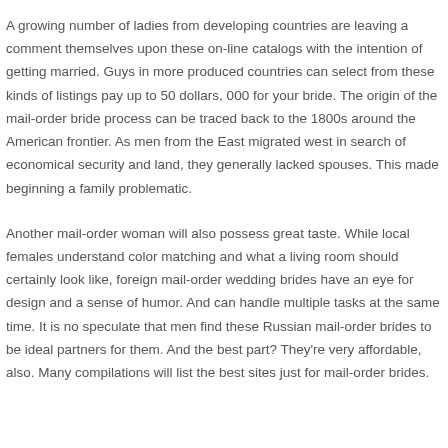A growing number of ladies from developing countries are leaving a comment themselves upon these on-line catalogs with the intention of getting married. Guys in more produced countries can select from these kinds of listings pay up to 50 dollars, 000 for your bride. The origin of the mail-order bride process can be traced back to the 1800s around the American frontier. As men from the East migrated west in search of economical security and land, they generally lacked spouses. This made beginning a family problematic.
Another mail-order woman will also possess great taste. While local females understand color matching and what a living room should certainly look like, foreign mail-order wedding brides have an eye for design and a sense of humor. And can handle multiple tasks at the same time. It is no speculate that men find these Russian mail-order brides to be ideal partners for them. And the best part? They're very affordable, also. Many compilations will list the best sites just for mail-order brides.